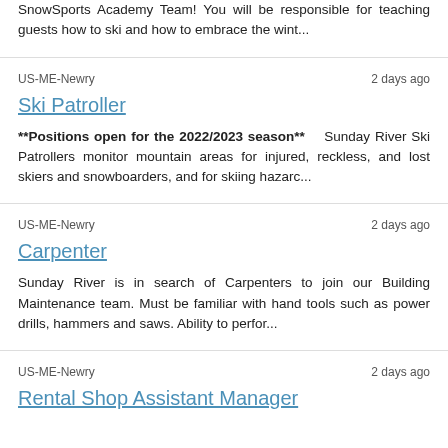SnowSports Academy Team! You will be responsible for teaching guests how to ski and how to embrace the wint...
US-ME-Newry
2 days ago
Ski Patroller
**Positions open for the 2022/2023 season**    Sunday River Ski Patrollers monitor mountain areas for injured, reckless, and lost skiers and snowboarders, and for skiing hazarc...
US-ME-Newry
2 days ago
Carpenter
Sunday River is in search of Carpenters to join our Building Maintenance team. Must be familiar with hand tools such as power drills, hammers and saws. Ability to perfor...
US-ME-Newry
2 days ago
Rental Shop Assistant Manager